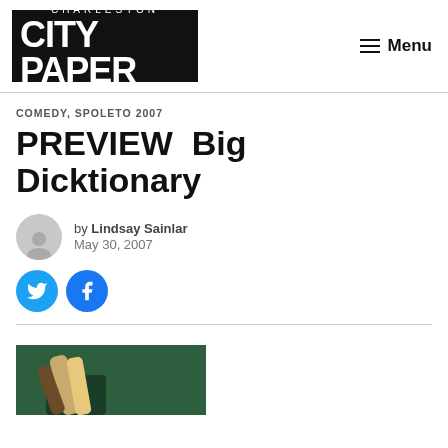CHARLESTON CITY PAPER | Menu
COMEDY, SPOLETO 2007
PREVIEW  Big Dicktionary
by Lindsay Sainlar
May 30, 2007
[Figure (photo): Photograph of hands holding a book against a dark green background, partially visible at bottom of page]